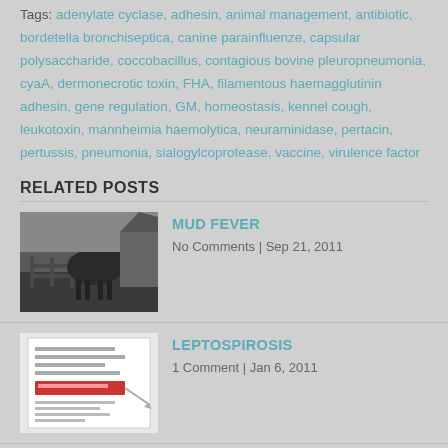Tags: adenylate cyclase, adhesin, animal management, antibiotic, bordetella bronchiseptica, canine parainfluenze, capsular polysaccharide, coccobacillus, contagious bovine pleuropneumonia, cyaA, dermonecrotic toxin, FHA, filamentous haemagglutinin adhesin, gene regulation, GM, homeostasis, kennel cough, leukotoxin, mannheimia haemolytica, neuraminidase, pertacin, pertussis, pneumonia, sialogylcoprotease, vaccine, virulence factor
RELATED POSTS
MUD FEVER
No Comments | Sep 21, 2011
LEPTOSPIROSIS
1 Comment | Jan 6, 2011
STAPHYLOCOCCI VIRULENCE
No Comments | Jan 10, 2011